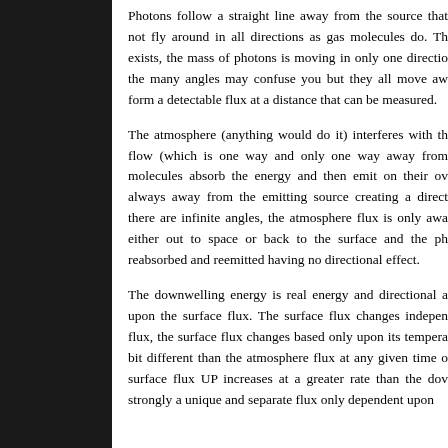Photons follow a straight line away from the source that not fly around in all directions as gas molecules do. The exists, the mass of photons is moving in only one direction the many angles may confuse you but they all move awa form a detectable flux at a distance that can be measured.
The atmosphere (anything would do it) interferes with the flow (which is one way and only one way away from molecules absorb the energy and then emit on their ow always away from the emitting source creating a direct there are infinite angles, the atmosphere flux is only awa either out to space or back to the surface and the ph reabsorbed and reemitted having no directional effect.
The downwelling energy is real energy and directional a upon the surface flux. The surface flux changes indepen flux, the surface flux changes based only upon its tempera bit different than the atmosphere flux at any given time o surface flux UP increases at a greater rate than the dow strongly a unique and separate flux only dependent upon